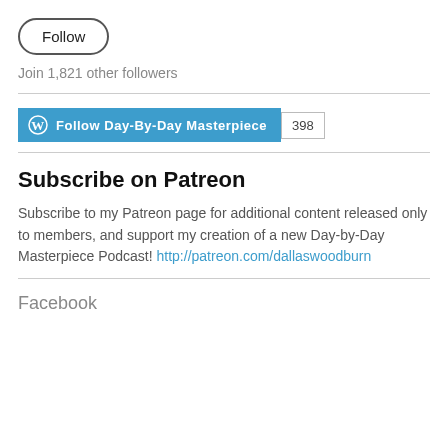[Figure (other): Follow button with rounded rectangle border]
Join 1,821 other followers
[Figure (other): WordPress Follow Day-By-Day Masterpiece button with count badge showing 398]
Subscribe on Patreon
Subscribe to my Patreon page for additional content released only to members, and support my creation of a new Day-by-Day Masterpiece Podcast! http://patreon.com/dallaswoodburn
Facebook